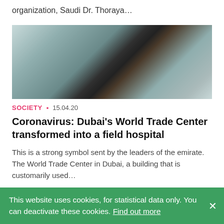organization, Saudi Dr. Thoraya…
[Figure (photo): Medical workers in white coats and masks moving hospital beds/gurneys in a medical facility. A person in a black hijab and blue mask is visible in the center.]
SOCIETY • 15.04.20
Coronavirus: Dubai's World Trade Center transformed into a field hospital
This is a strong symbol sent by the leaders of the emirate. The World Trade Center in Dubai, a building that is customarily used…
[Figure (photo): Partially visible article image at bottom of page]
This website uses cookies, for statistical data only. You can deactivate these cookies. Find out more